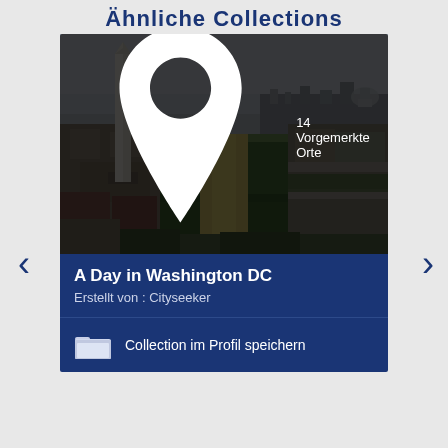Ähnliche Collections
[Figure (photo): Aerial view of Washington DC National Mall with Washington Monument in foreground, showing the green mall stretching toward the Capitol building, city skyline in background]
14 Vorgemerkte Orte
A Day in Washington DC
Erstellt von : Cityseeker
Collection im Profil speichern